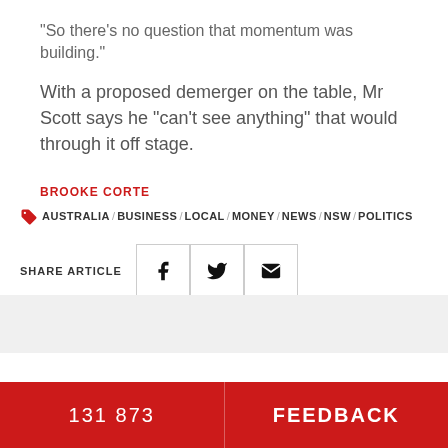“So there’s no question that momentum was building.”
With a proposed demerger on the table, Mr Scott says he “can’t see anything” that would through it off stage.
BROOKE CORTE
AUSTRALIA / BUSINESS / LOCAL / MONEY / NEWS / NSW / POLITICS
SHARE ARTICLE
131 873 | FEEDBACK